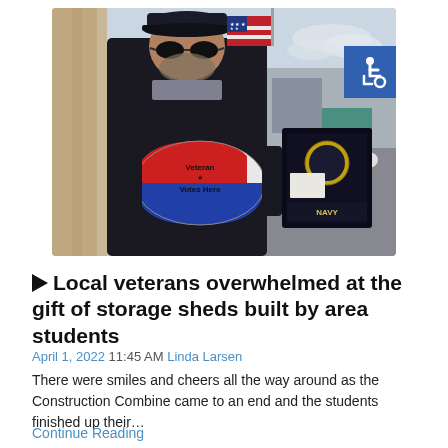[Figure (photo): A veteran wearing a Navy cap and sunglasses standing outdoors holding a red, white, and blue oval sign reading 'Veteran Votes Here' with a star. An American flag is visible in the background. A Navy plaque/display is visible to the right. There is an accessibility symbol badge in the upper right corner of the image.]
Local veterans overwhelmed at the gift of storage sheds built by area students
April 1, 2022 11:45 AM Linda Larsen
There were smiles and cheers all the way around as the Construction Combine came to an end and the students finished up their…
Continue Reading